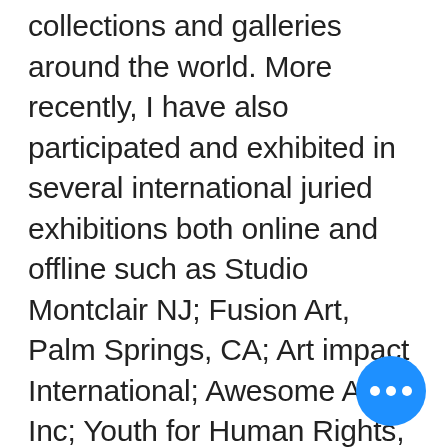collections and galleries around the world. More recently, I have also participated and exhibited in several international juried exhibitions both online and offline such as Studio Montclair NJ; Fusion Art, Palm Springs, CA; Art impact International; Awesome Art Inc; Youth for Human Rights, Washington DC; Artivita Online Art; Light Space & Time Online Art Gallery; The Contemporary Art Gallery Online; Sacramento Fine Arts Center, Carmichael, CA ; Chico Art Center, Chico, CA, and many others. When I reflect upon my long association with art, I find that the creative process is just as intriguing and rewarding as the final outcome of my projects. This desire to cr... has always been strong even wh... others have tried to dissuade me
[Figure (other): Blue circular button with three white dots (ellipsis/more options button) in bottom right corner]